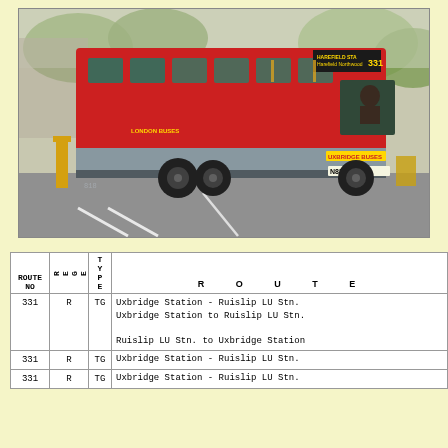[Figure (photo): A red single-decker London bus (Uxbridge Buses, registration N835 ACF) showing route 331 to Harefield Northwood, photographed on a street with trees in background.]
| ROUTE NO | REGE | TYPE | ROUTE |
| --- | --- | --- | --- |
| 331 | R | TG | Uxbridge Station - Ruislip LU Stn.
Uxbridge Station to Ruislip LU Stn.

Ruislip LU Stn. to Uxbridge Station |
| 331 | R | TG | Uxbridge Station - Ruislip LU Stn. |
| 331 | R | TG | Uxbridge Station - Ruislip LU Stn. |